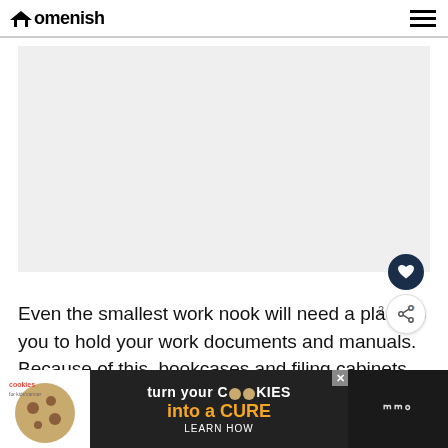Homenish
[Figure (photo): Large image placeholder with light gray background, representing a home office or workspace photo]
Even the smallest work nook will need a place for you to hold your work documents and manuals. Because of this, bookcases and filing cabinets can be metal
[Figure (infographic): Advertisement banner: cookies for kids cancer - turn your COOKIES into a CURE LEARN HOW, with a dark right panel showing additional branding]